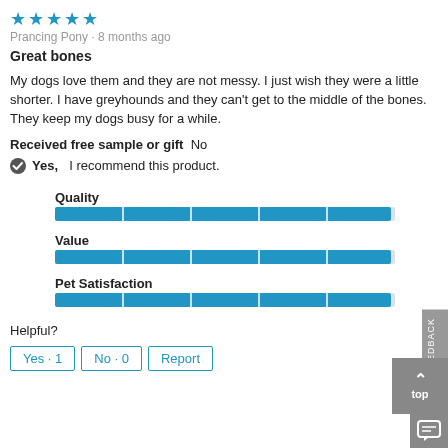[Figure (other): 5 blue stars rating]
Prancing Pony · 8 months ago
Great bones
My dogs love them and they are not messy. I just wish they were a little shorter. I have greyhounds and they can't get to the middle of the bones. They keep my dogs busy for a while.
Received free sample or gift  No
✔ Yes,  I recommend this product.
[Figure (infographic): Quality rating bar - full (5 out of 5)]
[Figure (infographic): Value rating bar - full (5 out of 5)]
[Figure (infographic): Pet Satisfaction rating bar - full (5 out of 5)]
Helpful?
Yes · 1
No · 0
Report